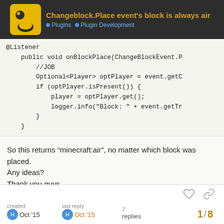Changeblock.Place event's block is always air | Plugins | Plugin Development
[Figure (screenshot): Code block showing Java listener method: @Listener, public void onBlockPlace(ChangeBlockEvent.P, //JOB, Optional<Player> optPlayer = event.getC, if (optPlayer.isPresent()) {, player = optPlayer.get();, logger.info("Block: " + event.getTr, }, }]
So this returns “minecraft:air”, no matter which block was placed.
Any ideas?
Thank you guys…
created Oct '15 | last reply Oct '15 | 7 replies | 1 / 8